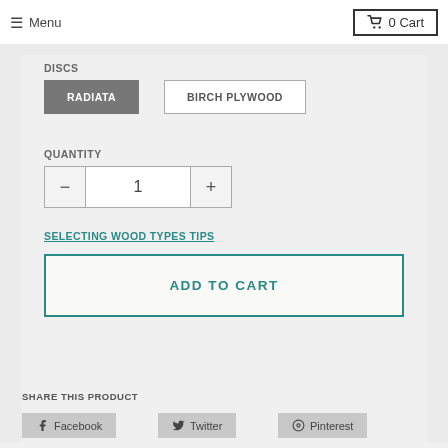Menu  0 Cart
DISCS
RADIATA
BIRCH PLYWOOD
QUANTITY
1
SELECTING WOOD TYPES TIPS
ADD TO CART
SHARE THIS PRODUCT
Facebook
Twitter
Pinterest